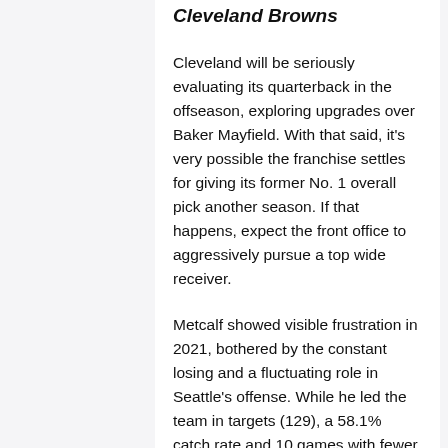Cleveland Browns
Cleveland will be seriously evaluating its quarterback in the offseason, exploring upgrades over Baker Mayfield. With that said, it's very possible the franchise settles for giving its former No. 1 overall pick another season. If that happens, expect the front office to aggressively pursue a top wide receiver.
Metcalf showed visible frustration in 2021, bothered by the constant losing and a fluctuating role in Seattle's offense. While he led the team in targets (129), a 58.1% catch rate and 10 games with fewer than